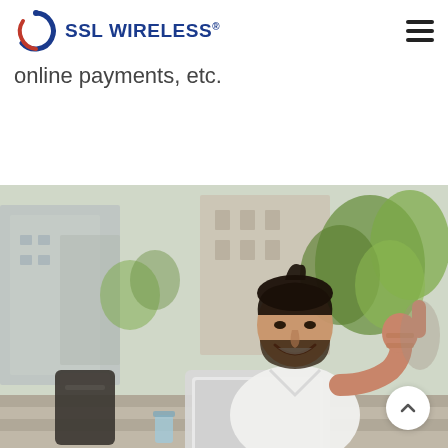SSL WIRELESS
online payments, etc.
[Figure (photo): A young man with a beard sitting on outdoor steps, smiling and giving a thumbs up, with a laptop on his lap and a backpack beside him. Background shows blurred buildings and green trees.]